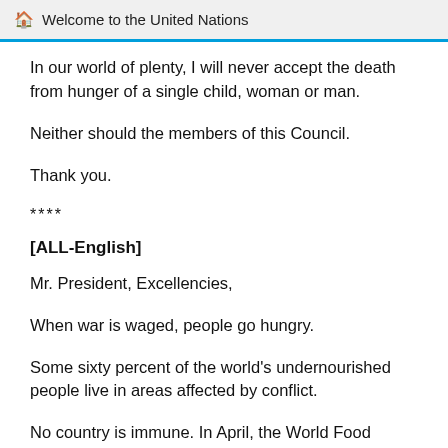Welcome to the United Nations
In our world of plenty, I will never accept the death from hunger of a single child, woman or man.
Neither should the members of this Council.
Thank you.
****
[ALL-English]
Mr. President, Excellencies,
When war is waged, people go hungry.
Some sixty percent of the world's undernourished people live in areas affected by conflict.
No country is immune. In April, the World Food Programme and its partners distributed food and cash to more than 3